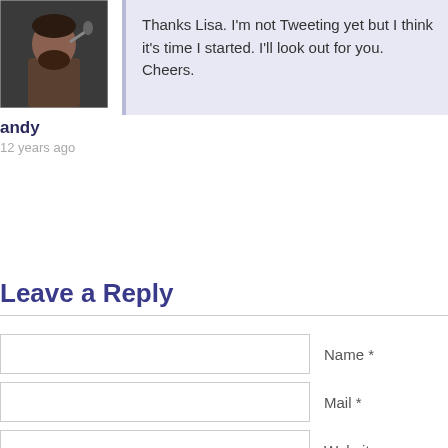[Figure (photo): Avatar photo of a man with a beard holding a microphone, dark background]
andy
12 years ago
Thanks Lisa. I'm not Tweeting yet but I think it's time I started. I'll look out for you. Cheers.
Leave a Reply
Name *
Mail *
Website